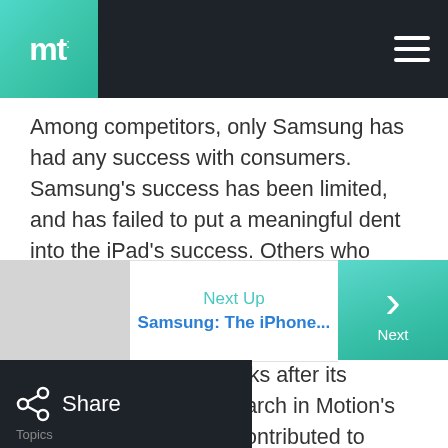mactrast
Among competitors, only Samsung has had any success with consumers. Samsung's success has been limited, and has failed to put a meaningful dent into the iPad's success. Others who have failed to compete with Apple's popular device include Hewlett-Packard's TouchPad, which was terminated just six weeks after its introduction, and Research in Motion's PlayBook, which has contributed to massive write-downs at RIM because of slow sales.
Next Up
Samsung: The iPhone...
Share